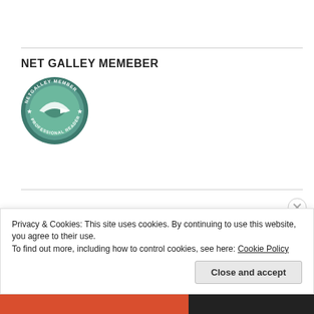NET GALLEY MEMEBER
[Figure (logo): NetGalley Member Professional Reader circular badge in teal/green with arrow logo]
[Figure (logo): 10 Reviews badge - diamond shape with green/teal ribbon, number 10 in center and REVIEWS text below]
Privacy & Cookies: This site uses cookies. By continuing to use this website, you agree to their use.
To find out more, including how to control cookies, see here: Cookie Policy
Close and accept